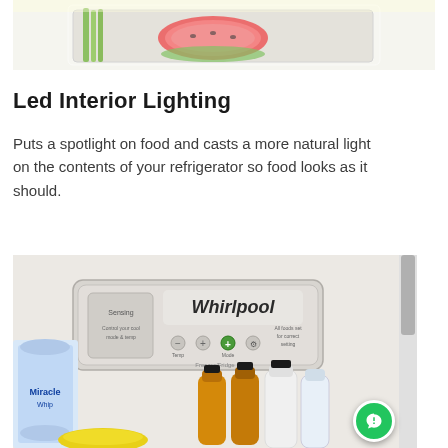[Figure (photo): Top portion of refrigerator interior showing fresh produce including celery, watermelon slices and other vegetables in a drawer with LED lighting]
Led Interior Lighting
Puts a spotlight on food and casts a more natural light on the contents of your refrigerator so food looks as it should.
[Figure (photo): Whirlpool refrigerator interior showing the control panel with the Whirlpool logo, temperature settings, various bottles of juice and dairy products stored on the door shelves]